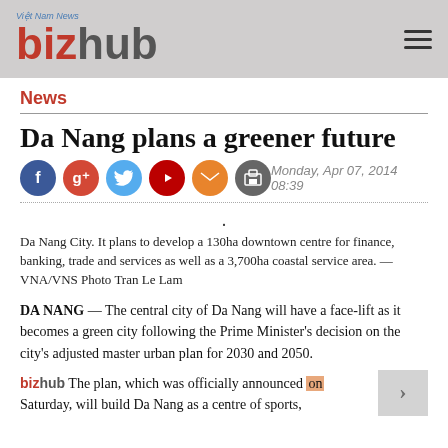Việt Nam News bizhub
News
Da Nang plans a greener future
Monday, Apr 07, 2014 08:39
Da Nang City. It plans to develop a 130ha downtown centre for finance, banking, trade and services as well as a 3,700ha coastal service area. — VNA/VNS Photo Tran Le Lam
DA NANG — The central city of Da Nang will have a face-lift as it becomes a green city following the Prime Minister's decision on the city's adjusted master urban plan for 2030 and 2050.
The plan, which was officially announced on Saturday, will build Da Nang as a centre of sports,